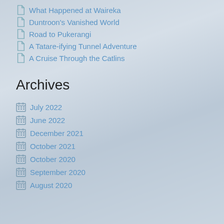What Happened at Waireka
Duntroon's Vanished World
Road to Pukerangi
A Tatare-ifying Tunnel Adventure
A Cruise Through the Catlins
Archives
July 2022
June 2022
December 2021
October 2021
October 2020
September 2020
August 2020